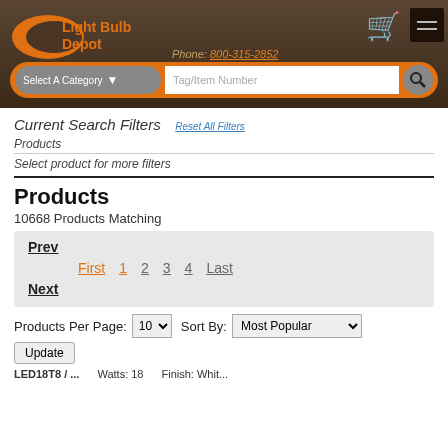Light Bulb Depot | Phone: 800-315-2852
Current Search Filters   Reset All Filters
Products
Select product for more filters
Products
10668 Products Matching
Prev
First  1  2  3  4  Last
Next
Products Per Page: 10  Sort By: Most Popular
Update
LED18T8 / ...   Watts: 18   Finish: Whit...